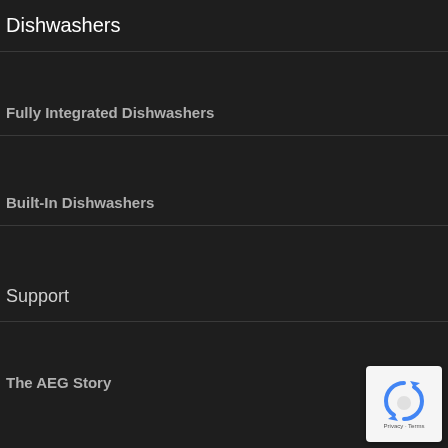Dishwashers
Fully Integrated Dishwashers
Built-In Dishwashers
Support
The AEG Story
[Figure (other): reCAPTCHA badge with Privacy and Terms links]